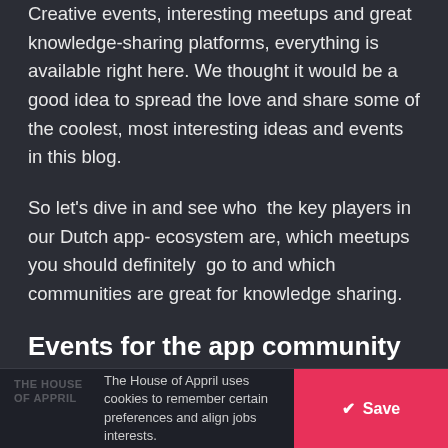Creative events, interesting meetups and great knowledge-sharing platforms, everything is available right here. We thought it would be a good idea to spread the love and share some of the coolest, most interesting ideas and events in this blog.
So let's dive in and see who  the key players in our Dutch app- ecosystem are, which meetups you should definitely go to and which communities are great for knowledge sharing.
Events for the app community
To kick off this list, let's look at the must-attend events that
The House of Appril uses cookies to remember certain preferences and align jobs interests.